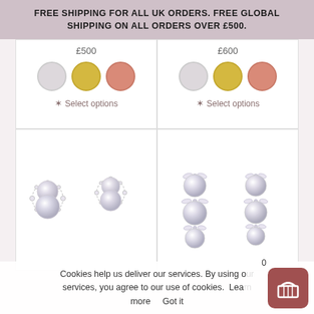FREE SHIPPING FOR ALL UK ORDERS. FREE GLOBAL SHIPPING ON ALL ORDERS OVER £500.
£500
£600
✿ Select options
✿ Select options
[Figure (photo): Two pairs of pearl and diamond stud earrings on white background - left pair showing double pearls with snowflake diamond surrounds, right pair showing triple stacked pearls with diamond accents]
Cookies help us deliver our services. By using our services, you agree to our use of cookies. Learn more  Got it